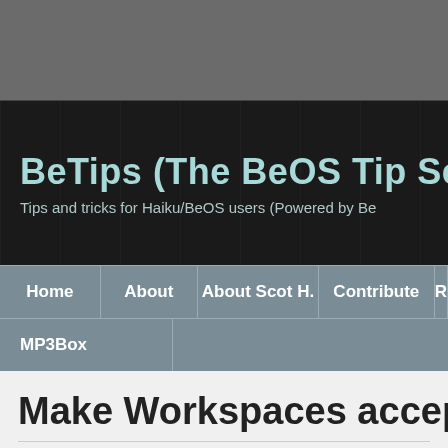[Figure (screenshot): Gray top banner area of a website screenshot]
BeTips (The BeOS Tip Serv...
Tips and tricks for Haiku/BeOS users (Powered by Be...
Home | About | About Scot H. | Contribute | R... | MP3Box
Make Workspaces accept firs...
Posted on September 9th, 1997 by shacker